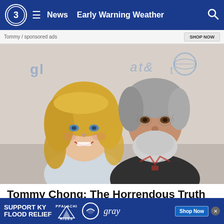News  Early Warning Weather
[Figure (photo): Tommy Chong and a blonde woman posing together at an AT&T event, smiling at the camera]
Tommy Chong: The Horrendous Truth About CBD
Tommy Cho...
[Figure (infographic): Advertisement banner: SUPPORT KY FLOOD RELIEF - Appalachia Rises - gray - Shop Now]